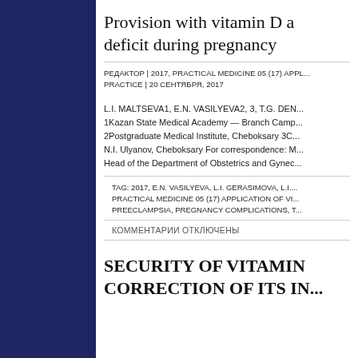Provision with vitamin D and deficit during pregnancy
РЕДАКТОР | 2017, PRACTICAL MEDICINE 05 (17) APPLICATION OF VITAMIN D IN PRACTICE | 20 СЕНТЯБРЯ, 2017
L.I. MALTSEVA1, E.N. VASILYEVA2, 3, T.G. DEN... 1Kazan State Medical Academy — Branch Camp... 2Postgraduate Medical Institute, Cheboksary 3C... N.I. Ulyanov, Cheboksary For correspondence: M... Head of the Department of Obstetrics and Gynec...
TAG: 2017, E.N. VASILYEVA, L.I. GERASIMOVA, L.I... PRACTICAL MEDICINE 05 (17) APPLICATION OF VI... PREECLAMPSIA, PREGNANCY COMPLICATIONS, T...
КОММЕНТАРИИ ОТКЛЮЧЕНЫ
SECURITY OF VITAMIN CORRECTION OF ITS IN...